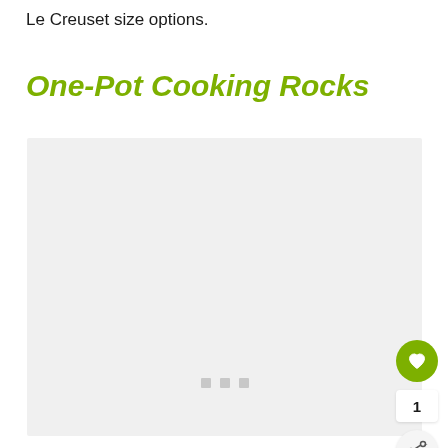Le Creuset size options.
One-Pot Cooking Rocks
[Figure (screenshot): A large light gray placeholder image box with three small gray square dots centered near the bottom, representing a loading or empty image area.]